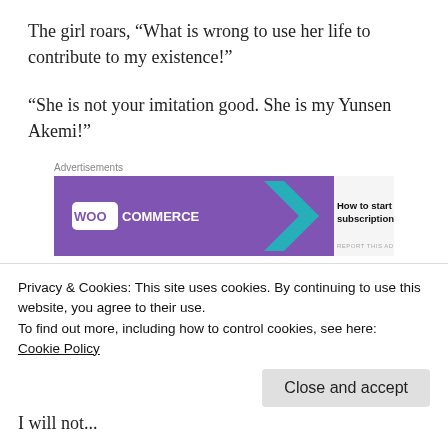The girl roars, “What is wrong to use her life to contribute to my existence!”
“She is not your imitation good. She is my Yunsen Akemi!”
[Figure (other): WooCommerce advertisement banner: purple background with WooCommerce logo, teal and orange decorative shapes, text 'How to start selling subscriptions online']
Liu Yi tells her loudly. His words cause her face
Privacy & Cookies: This site uses cookies. By continuing to use this website, you agree to their use.
To find out more, including how to control cookies, see here:
Cookie Policy
I will not...